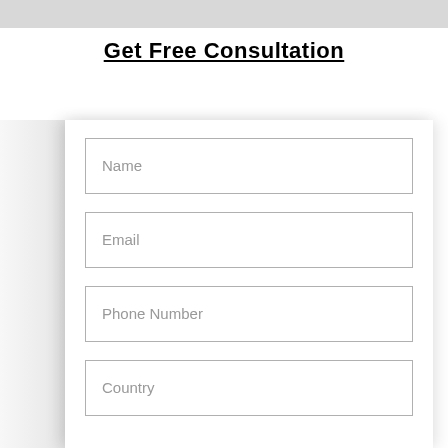Get Free Consultation
Name
Email
Phone Number
Country